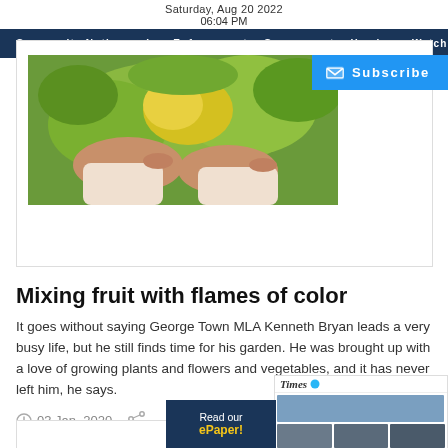Saturday, Aug 20 2022
06:04 PM
Community Notices  Law Enforcement  Government  Hurricane Watch  CO...
[Figure (photo): Person's hands holding yellow and green tropical plants/flowers]
[Figure (screenshot): Subscribe button with envelope icon on blue background]
Mixing fruit with flames of color
It goes without saying George Town MLA Kenneth Bryan leads a very busy life, but he still finds time for his garden. He was brought up with a love of growing plants and flowers and vegetables, and it has never left him, he says.
03 Jan, 2020
[Figure (screenshot): Cayman Times ePaper widget with newspaper thumbnail images and 'Read our ePaper!' button]